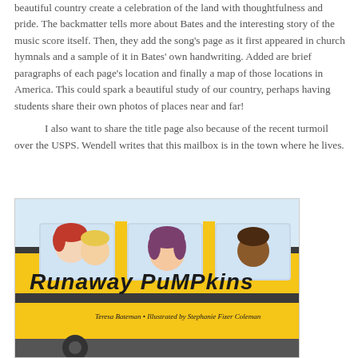beautiful country create a celebration of the land with thoughtfulness and pride. The backmatter tells more about Bates and the interesting story of the music score itself. Then, they add the song's page as it first appeared in church hymnals and a sample of it in Bates' own handwriting. Added are brief paragraphs of each page's location and finally a map of those locations in America. This could spark a beautiful study of our country, perhaps having students share their own photos of places near and far!
	I also want to share the title page also because of the recent turmoil over the USPS. Wendell writes that this mailbox is in the town where he lives.
[Figure (illustration): Book cover of 'Runaway Pumpkins' by Teresa Bateman, illustrated by Stephanie Fizer Coleman. Shows a yellow school bus with cartoon children's faces peering out the windows. Title text in large black handwritten-style font reads 'Runaway Pumpkins'. Author and illustrator credits below.]